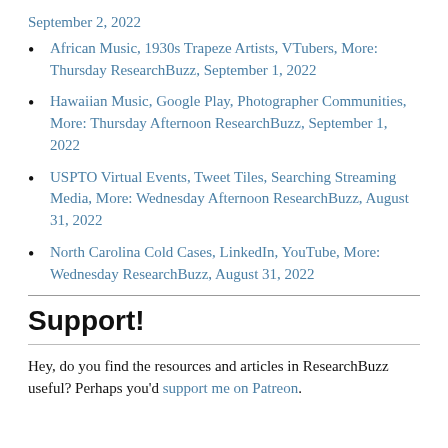September 2, 2022
African Music, 1930s Trapeze Artists, VTubers, More: Thursday ResearchBuzz, September 1, 2022
Hawaiian Music, Google Play, Photographer Communities, More: Thursday Afternoon ResearchBuzz, September 1, 2022
USPTO Virtual Events, Tweet Tiles, Searching Streaming Media, More: Wednesday Afternoon ResearchBuzz, August 31, 2022
North Carolina Cold Cases, LinkedIn, YouTube, More: Wednesday ResearchBuzz, August 31, 2022
Support!
Hey, do you find the resources and articles in ResearchBuzz useful? Perhaps you'd support me on Patreon.